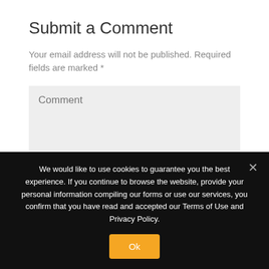Submit a Comment
Your email address will not be published. Required fields are marked *
[Figure (screenshot): Comment text area input field with placeholder text 'Comment']
We would like to use cookies to guarantee you the best experience. If you continue to browse the website, provide your personal information compiling our forms or use our services, you confirm that you have read and accepted our Terms of Use and Privacy Policy.
Ok